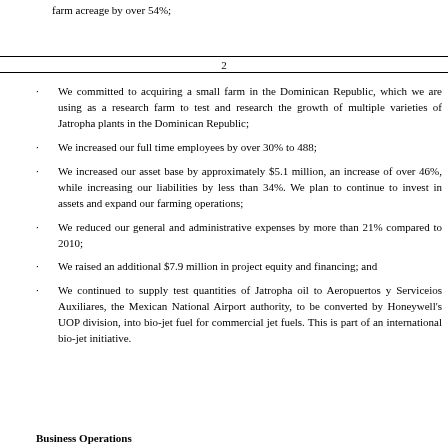farm acreage by over 54%;
2
We committed to acquiring a small farm in the Dominican Republic, which we are using as a research farm to test and research the growth of multiple varieties of Jatropha plants in the Dominican Republic;
We increased our full time employees by over 30% to 488;
We increased our asset base by approximately $5.1 million, an increase of over 46%, while increasing our liabilities by less than 34%. We plan to continue to invest in assets and expand our farming operations;
We reduced our general and administrative expenses by more than 21% compared to 2010;
We raised an additional $7.9 million in project equity and financing; and
We continued to supply test quantities of Jatropha oil to Aeropuertos y Serviceios Auxiliares, the Mexican National Airport authority, to be converted by Honeywell's UOP division, into bio-jet fuel for commercial jet fuels.  This is part of an international bio-jet initiative.
Business Operations